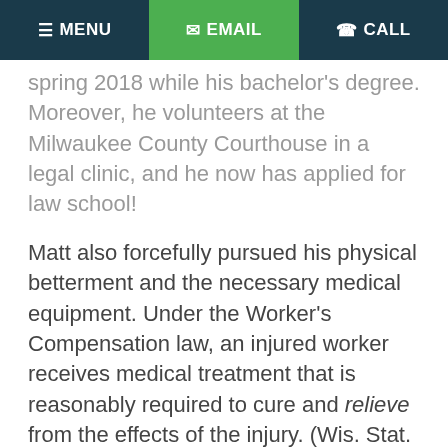MENU | EMAIL | CALL
spring 2018 while his bachelor's degree. Moreover, he volunteers at the Milwaukee County Courthouse in a legal clinic, and he now has applied for law school!
Matt also forcefully pursued his physical betterment and the necessary medical equipment. Under the Worker's Compensation law, an injured worker receives medical treatment that is reasonably required to cure and relieve from the effects of the injury. (Wis. Stat. Section 102.42(1)). In Matt's case, his worker's compensation insurance company provided a number of medical items since the injury,